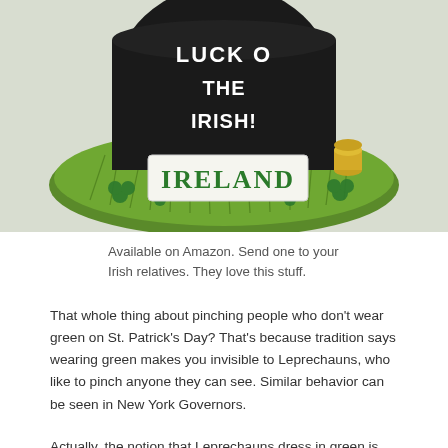[Figure (photo): A decorative Irish figurine/souvenir showing a black pot (hat) with white text reading 'Luck o The Irish!' on it, surrounded by green shamrocks and grass texture, with a white sign in the center reading 'Ireland' in green lettering. A gold coin stack is visible on the right side.]
Available on Amazon. Send one to your Irish relatives. They love this stuff.
That whole thing about pinching people who don't wear green on St. Patrick's Day? That's because tradition says wearing green makes you invisible to Leprechauns, who like to pinch anyone they can see. Similar behavior can be seen in New York Governors.
Actually, the notion that Leprechauns dress in green is fairly recent. Prior to the 20th century, it was generally held that Leprechauns wore red, not